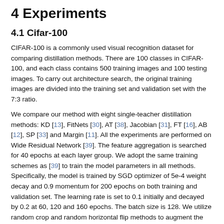4 Experiments
4.1 Cifar-100
CIFAR-100 is a commonly used visual recognition dataset for comparing distillation methods. There are 100 classes in CIFAR-100, and each class contains 500 training images and 100 testing images. To carry out architecture search, the original training images are divided into the training set and validation set with the 7:3 ratio.
We compare our method with eight single-teacher distillation methods: KD [13], FitNets [30], AT [38], Jacobian [31], FT [16], AB [12], SP [33] and Margin [11]. All the experiments are performed on Wide Residual Network [39]. The feature aggregation is searched for 40 epochs at each layer group. We adopt the same training schemes as [39] to train the model parameters in all methods. Specifically, the model is trained by SGD optimizer of 5e-4 weight decay and 0.9 momentum for 200 epochs on both training and validation set. The learning rate is set to 0.1 initially and decayed by 0.2 at 60, 120 and 160 epochs. The batch size is 128. We utilize random crop and random horizontal flip methods to augment the